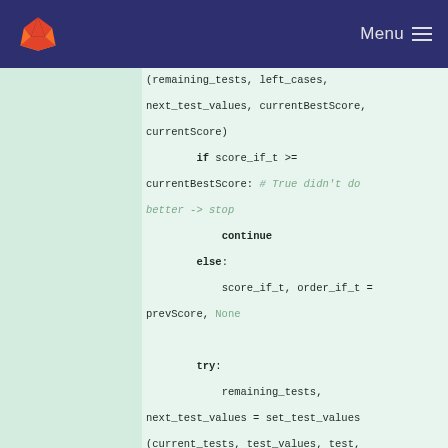GitLab — Menu
[Figure (screenshot): Code diff view showing Python code lines 199-209, with line numbers on the left, plus signs indicating added lines, on a green-tinted background.]